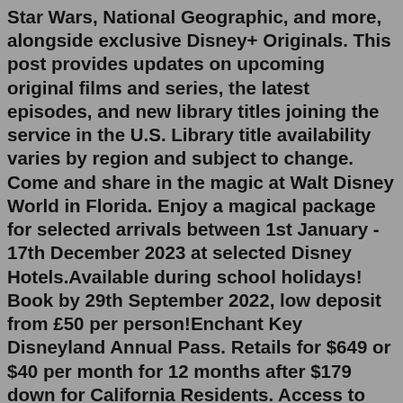Star Wars, National Geographic, and more, alongside exclusive Disney+ Originals. This post provides updates on upcoming original films and series, the latest episodes, and new library titles joining the service in the U.S. Library title availability varies by region and subject to change. Come and share in the magic at Walt Disney World in Florida. Enjoy a magical package for selected arrivals between 1st January - 17th December 2023 at selected Disney Hotels.Available during school holidays! Book by 29th September 2022, low deposit from £50 per person!Enchant Key Disneyland Annual Pass. Retails for $649 or $40 per month for 12 months after $179 down for California Residents. Access to make reservations on select days of the year to one or both parks. Can hold up to 4 park reservations at a time and can make reservations up to 90 days out. 10% off select merchandise.Jul 25, 2022 · The full tour dates for Disney on Ice Dream Big are: Manchester: AO Arena from 2nd – 6th November 2022. Aberdeen: P&J Live from 10th – 13th November 2022.